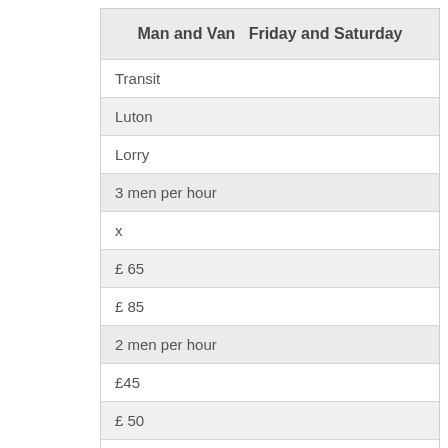| Man and Van  Friday and Saturday |
| --- |
| Transit |
| Luton |
| Lorry |
| 3 men per hour |
| x |
| £ 65 |
| £ 85 |
| 2 men per hour |
| £45 |
| £ 50 |
| £ 75 |